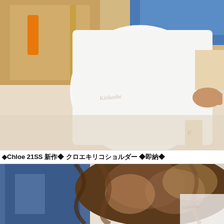[Figure (photo): Top photo showing a person holding a large white tote bag with script text/branding, standing in what appears to be a fashion retail store. The bag appears to be a Chloe branded bag. Background shows store fixtures and a blue/denim garment.]
◆Chloe 21SS 新作◆ クロエキリコショルダー ◆即納◆
[Figure (photo): Bottom photo showing a woman with long wavy highlighted brown hair, wearing a denim jacket, holding a white tote bag with script branding. The photo is taken from above/at an angle in what appears to be the same fashion retail store.]